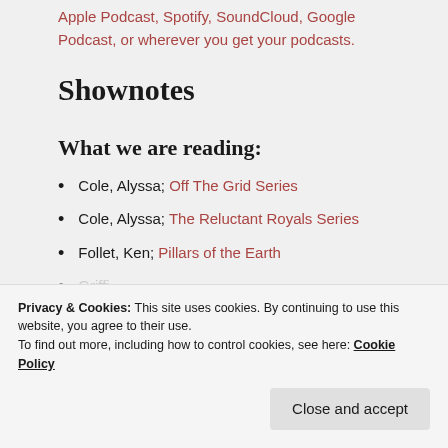Apple Podcast, Spotify, SoundCloud, Google Podcast, or wherever you get your podcasts.
Shownotes
What we are reading:
Cole, Alyssa; Off The Grid Series
Cole, Alyssa; The Reluctant Royals Series
Follet, Ken; Pillars of the Earth
Privacy & Cookies: This site uses cookies. By continuing to use this website, you agree to their use.
To find out more, including how to control cookies, see here: Cookie Policy
Close and accept